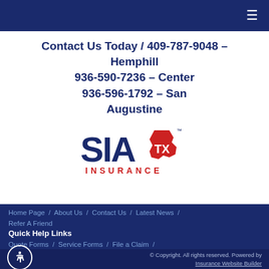≡
Contact Us Today / 409-787-9048 – Hemphill
936-590-7236 – Center
936-596-1792 – San Augustine
[Figure (logo): SIA TX Insurance logo — dark blue bold 'SIA' text, red Texas outline shape with 'TX' inside, red 'INSURANCE' text below]
Home Page / About Us / Contact Us / Latest News / Refer A Friend
Quick Help Links
Quote Forms / Service Forms / File a Claim / Make a Payment / Insurance Glossary / FAQs
© Copyright. All rights reserved. Powered by Insurance Website Builder